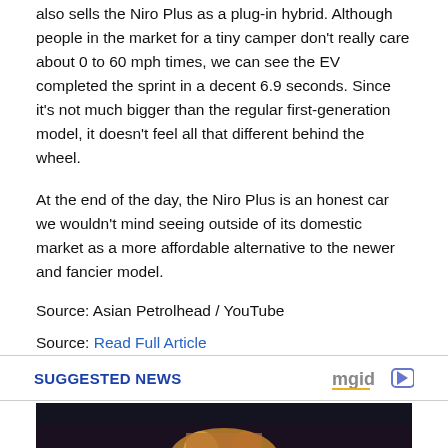also sells the Niro Plus as a plug-in hybrid. Although people in the market for a tiny camper don't really care about 0 to 60 mph times, we can see the EV completed the sprint in a decent 6.9 seconds. Since it's not much bigger than the regular first-generation model, it doesn't feel all that different behind the wheel.
At the end of the day, the Niro Plus is an honest car we wouldn't mind seeing outside of its domestic market as a more affordable alternative to the newer and fancier model.
Source: Asian Petrolhead / YouTube
Source: Read Full Article
SUGGESTED NEWS
[Figure (photo): Dark background photo showing a person, partially cropped at bottom of page]